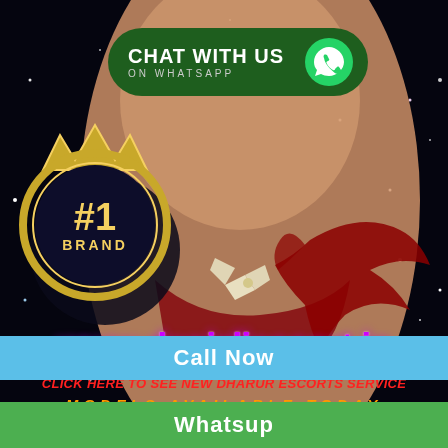[Figure (illustration): Dark starfield background with illustrated female torso in skin tones, red bikini with bow tie, red angel wings silhouette on right, gold #1 brand badge on left, WhatsApp chat button at top]
CHAT WITH US ON WHATSAPP
#1 BRAND
www.denizliescort.in
CLICK HERE TO SEE NEW DHARUR ESCORTS SERVICE
MODELS AVAILABLE TODAY
Call Now
Whatsup